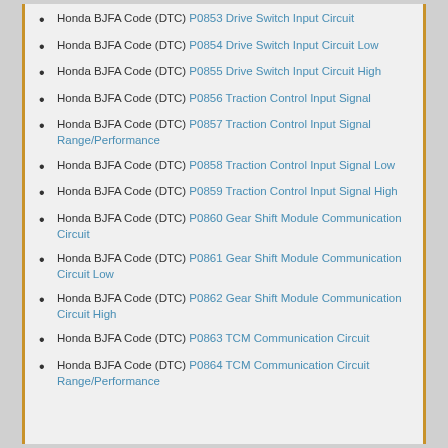Honda BJFA Code (DTC) P0853 Drive Switch Input Circuit
Honda BJFA Code (DTC) P0854 Drive Switch Input Circuit Low
Honda BJFA Code (DTC) P0855 Drive Switch Input Circuit High
Honda BJFA Code (DTC) P0856 Traction Control Input Signal
Honda BJFA Code (DTC) P0857 Traction Control Input Signal Range/Performance
Honda BJFA Code (DTC) P0858 Traction Control Input Signal Low
Honda BJFA Code (DTC) P0859 Traction Control Input Signal High
Honda BJFA Code (DTC) P0860 Gear Shift Module Communication Circuit
Honda BJFA Code (DTC) P0861 Gear Shift Module Communication Circuit Low
Honda BJFA Code (DTC) P0862 Gear Shift Module Communication Circuit High
Honda BJFA Code (DTC) P0863 TCM Communication Circuit
Honda BJFA Code (DTC) P0864 TCM Communication Circuit Range/Performance